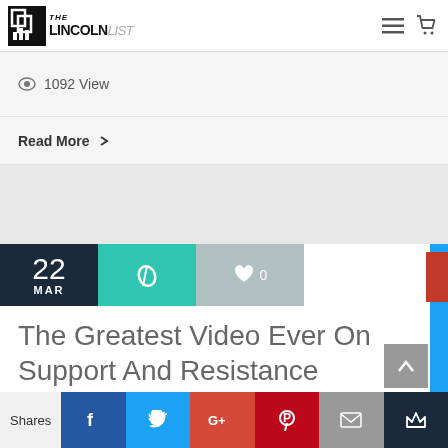[Figure (logo): The Lincoln List logo - black box with chart icon and stylized text]
1092 View
Read More >
The Greatest Video Ever On Support And Resistance
Blog, Featured, Free Lessons, Free Whiteboards
Shares  [Facebook] [Twitter] [Google+] [Pinterest] [Email] [Crown]